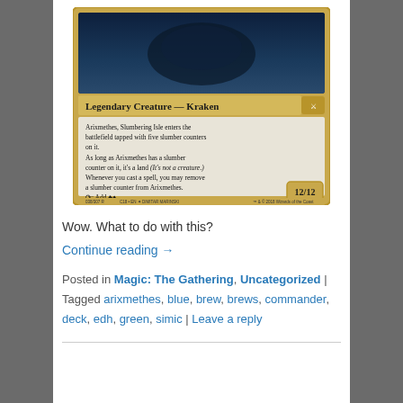[Figure (photo): Magic: The Gathering card image showing Arixmethes, Slumbering Isle — a Legendary Creature Kraken with power/toughness 12/12. Card text includes rules about entering tapped with slumber counters, becoming a land while counters are on it, and removing counters when spells are cast.]
Wow. What to do with this?
Continue reading →
Posted in Magic: The Gathering, Uncategorized | Tagged arixmethes, blue, brew, brews, commander, deck, edh, green, simic | Leave a reply